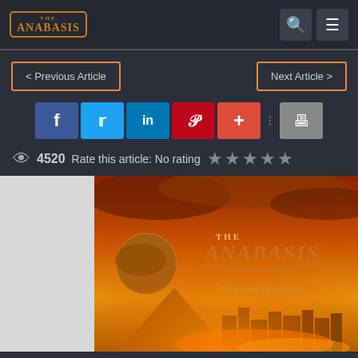The Anabasis — logo, search icon, menu icon
< Previous Article
Next Article >
[Figure (infographic): Social sharing buttons: Facebook (f), Twitter (bird), LinkedIn (in), Pinterest (p), Plus (+), separator dots, Print icon]
4520   Rate this article: No rating ★★★★★
[Figure (photo): Album cover for The Anabasis 'Back From Being Gone' — fiery orange/gold apocalyptic scene with pyramids, city buildings, planet, and The Anabasis logo text]